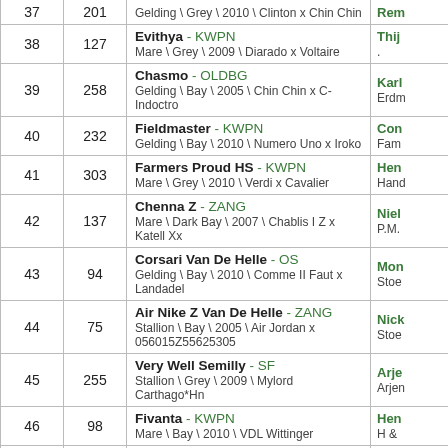| Rank | No. | Horse | Rider |
| --- | --- | --- | --- |
| 37 | 201 | Gelding \ Grey \ 2010 \ Clinton x Chin Chin | Rem... |
| 38 | 127 | Evithya - KWPN
Mare \ Grey \ 2009 \ Diarado x Voltaire | Thij...
. |
| 39 | 258 | Chasmo - OLDBG
Gelding \ Bay \ 2005 \ Chin Chin x C-Indoctro | Karl...
Erdm... |
| 40 | 232 | Fieldmaster - KWPN
Gelding \ Bay \ 2010 \ Numero Uno x Iroko | Con...
Fam... |
| 41 | 303 | Farmers Proud HS - KWPN
Mare \ Grey \ 2010 \ Verdi x Cavalier | Hen...
Hand... |
| 42 | 137 | Chenna Z - ZANG
Mare \ Dark Bay \ 2007 \ Chablis I Z x Katell Xx | Niel...
P.M.... |
| 43 | 94 | Corsari Van De Helle - OS
Gelding \ Bay \ 2010 \ Comme II Faut x Landadel | Mon...
Stoe... |
| 44 | 75 | Air Nike Z Van De Helle - ZANG
Stallion \ Bay \ 2005 \ Air Jordan x 056015Z55625305 | Nick...
Stoe... |
| 45 | 255 | Very Well Semilly - SF
Stallion \ Grey \ 2009 \ Mylord Carthago*Hn | Arje...
Arjen... |
| 46 | 98 | Fivanta - KWPN
Mare \ Bay \ 2010 \ VDL Wittinger | Hen...
H & ... |
| 47 | ... | Cahana 10 - MECKL | Patr... |